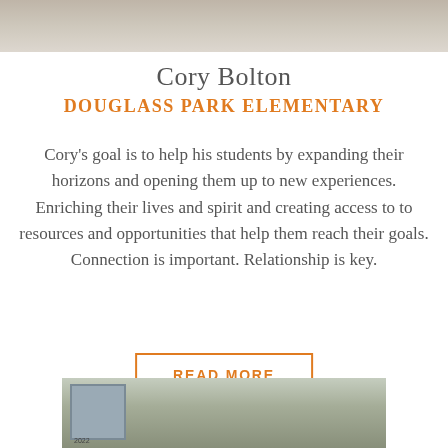[Figure (photo): Top portion of a photo showing a person, cropped at the top of the page]
Cory Bolton
DOUGLASS PARK ELEMENTARY
Cory's goal is to help his students by expanding their horizons and opening them up to new experiences. Enriching their lives and spirit and creating access to to resources and opportunities that help them reach their goals. Connection is important. Relationship is key.
READ MORE
[Figure (photo): Bottom photo showing the exterior of Douglass Park Elementary school building with trees and a sign, partially cropped at the bottom of the page]